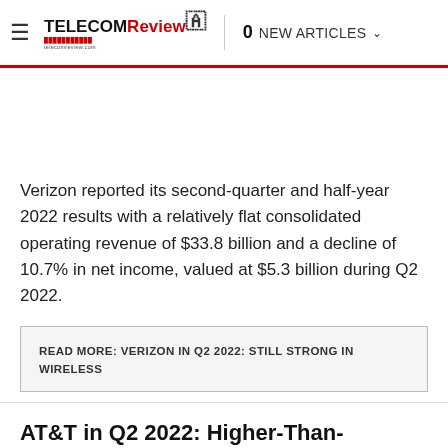≡  TELECOM Review  0 NEW ARTICLES ▾
Verizon reported its second-quarter and half-year 2022 results with a relatively flat consolidated operating revenue of $33.8 billion and a decline of 10.7% in net income, valued at $5.3 billion during Q2 2022.
READ MORE: VERIZON IN Q2 2022: STILL STRONG IN WIRELESS
AT&T in Q2 2022: Higher-Than-Forecasted Customer Growth
22 JULY 2022